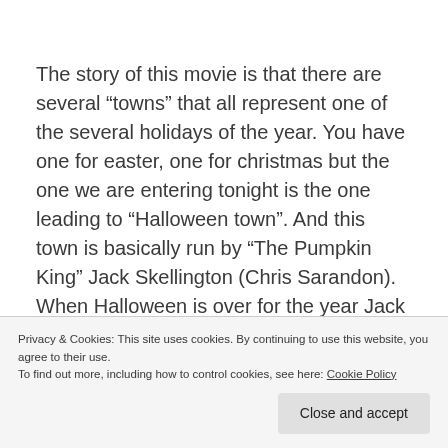The story of this movie is that there are several “towns” that all represent one of the several holidays of the year. You have one for easter, one for christmas but the one we are entering tonight is the one leading to “Halloween town”. And this town is basically run by “The Pumpkin King” Jack Skellington (Chris Sarandon). When Halloween is over for the year Jack goes to contemplate life he finds these doors which lead to the other towns.
Privacy & Cookies: This site uses cookies. By continuing to use this website, you agree to their use.
To find out more, including how to control cookies, see here: Cookie Policy
expect it doesn’t go too well. Now I think this premise is